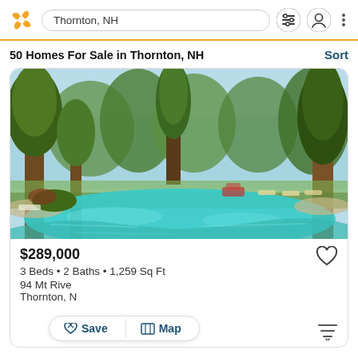Thornton, NH
50 Homes For Sale in Thornton, NH
[Figure (photo): Outdoor pool surrounded by tall pine trees and landscaping on a sunny day, with lounge chairs in the background]
$289,000
3 Beds • 2 Baths • 1,259 Sq Ft
94 Mt Rive...
Thornton, N...